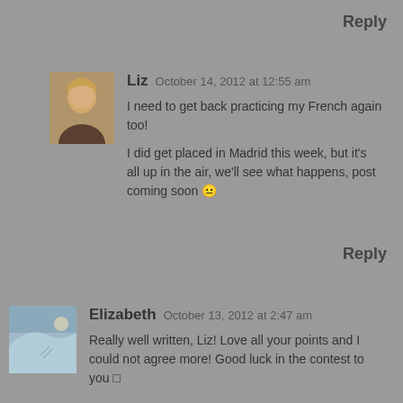Reply
Liz  October 14, 2012 at 12:55 am
I need to get back practicing my French again too!

I did get placed in Madrid this week, but it's all up in the air, we'll see what happens, post coming soon 😬
Reply
Elizabeth  October 13, 2012 at 2:47 am
Really well written, Liz! Love all your points and I could not agree more! Good luck in the contest to you 🙂